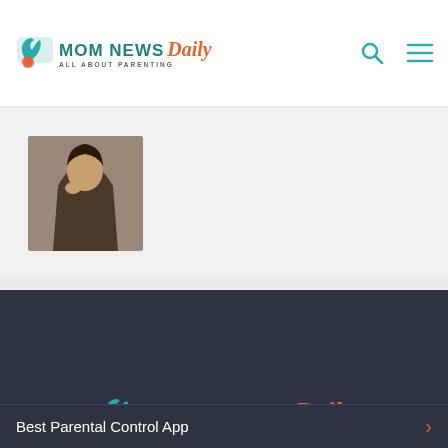[Figure (logo): Mom News Daily logo - teal MOM NEWS with orange italic Daily and ALL ABOUT PARENTING tagline, with speech bubble icon]
[Figure (photo): Partial photo of a person near a car, only partially visible in the card area]
[Figure (infographic): Four circular teal social media icons: Facebook, Pinterest, Instagram, Twitter]
[Figure (logo): Large Mom News Daily logo on dark background - teal MOM NEWS with orange italic Daily and ALL ABOUT PARENTING tagline]
Best Parental Control App